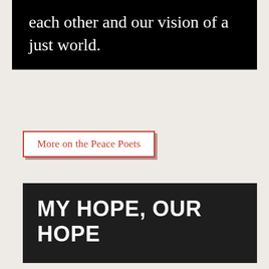each other and our vision of a just world.
More on the Peace Poets
MY HOPE, OUR HOPE